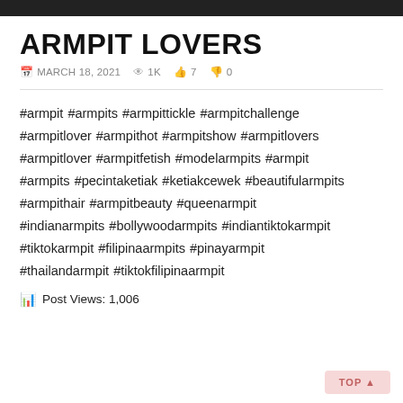ARMPIT LOVERS
MARCH 18, 2021   1K   7   0
#armpit #armpits #armpittickle #armpitchallenge #armpitlover #armpithot #armpitshow #armpitlovers #armpitlover #armpitfetish #modelarmpits #armpit #armpits #pecintaketiak #ketiakcewek #beautifularmpits #armpithair #armpitbeauty #queenarmpit #indianarmpits #bollywoodarmpits #indiantiktokarmpit #tiktokarmpit #filipinaarmpits #pinayarmpit #thailandarmpit #tiktokfilipinaarmpit
Post Views: 1,006